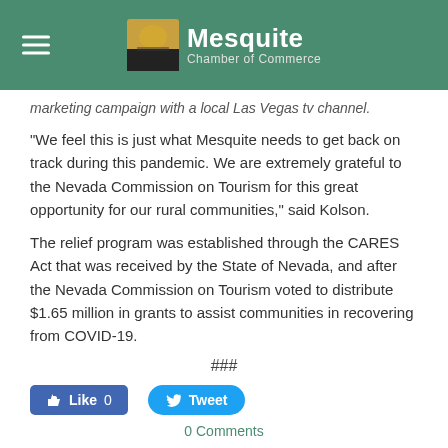Mesquite Chamber of Commerce
marketing campaign with a local Las Vegas tv channel.
“We feel this is just what Mesquite needs to get back on track during this pandemic. We are extremely grateful to the Nevada Commission on Tourism for this great opportunity for our rural communities,” said Kolson.
The relief program was established through the CARES Act that was received by the State of Nevada, and after the Nevada Commission on Tourism voted to distribute $1.65 million in grants to assist communities in recovering from COVID-19.
###
[Figure (screenshot): Facebook Like button (Like 0) and Twitter Tweet button]
0 Comments